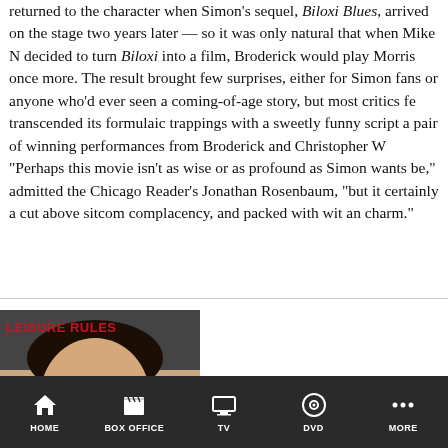returned to the character when Simon's sequel, Biloxi Blues, arrived on the stage two years later — so it was only natural that when Mike Nichols decided to turn Biloxi into a film, Broderick would play Morris once more. The result brought few surprises, either for Simon fans or anyone who'd ever seen a coming-of-age story, but most critics felt it transcended its formulaic trappings with a sweetly funny script and a pair of winning performances from Broderick and Christopher Walken. "Perhaps this movie isn't as wise or as profound as Simon wants it to be," admitted the Chicago Reader's Jonathan Rosenbaum, "but it's certainly a cut above sitcom complacency, and packed with wit and charm."
[Figure (photo): Movie cover image for 'Leisure Rules' showing a young man smiling, with red bold text 'LEISURE RULES' at the top left]
HOME | BOX OFFICE | TV | DVD | MORE